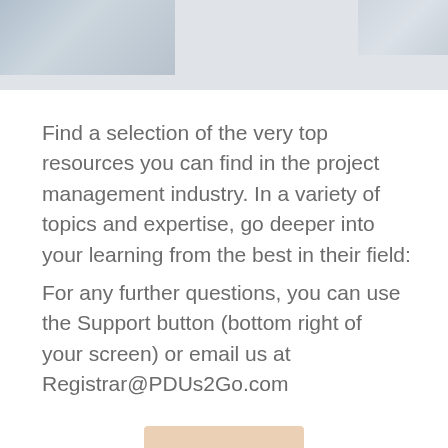[Figure (photo): Partial photo banner at top of page, showing a blurred/faded image on the left and a smaller image on the right, against a light grey background]
Find a selection of the very top resources you can find in the project management industry. In a variety of topics and expertise, go deeper into your learning from the best in their field:
For any further questions, you can use the Support button (bottom right of your screen) or email us at Registrar@PDUs2Go.com